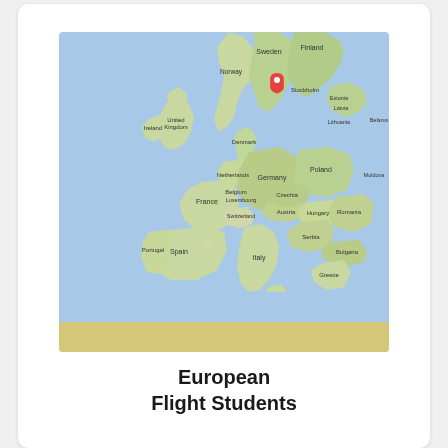[Figure (map): Google Maps view of Europe showing countries including United Kingdom, Ireland, Norway, Sweden, Finland, Denmark, Netherlands, Belgium, Luxembourg, France, Germany, Poland, Czechia, Austria, Switzerland, Spain, Portugal, Italy, Hungary, Romania, Bulgaria, Serbia, Croatia, Slovenia, Slovakia, Moldova, Belarus, Lithuania, Latvia, Estonia, and parts of North Africa. A red map pin marker is visible over Sweden/Scandinavia area.]
European Flight Students